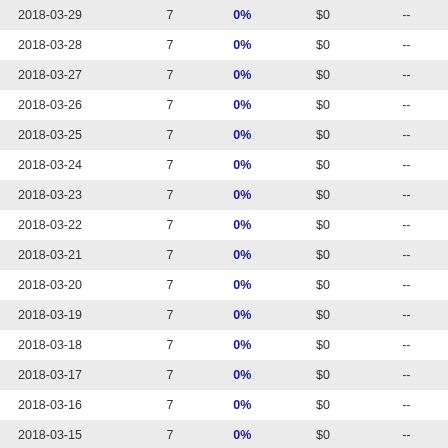| 2018-03-29 | 7 | 0% | $0 | -- |
| 2018-03-28 | 7 | 0% | $0 | -- |
| 2018-03-27 | 7 | 0% | $0 | -- |
| 2018-03-26 | 7 | 0% | $0 | -- |
| 2018-03-25 | 7 | 0% | $0 | -- |
| 2018-03-24 | 7 | 0% | $0 | -- |
| 2018-03-23 | 7 | 0% | $0 | -- |
| 2018-03-22 | 7 | 0% | $0 | -- |
| 2018-03-21 | 7 | 0% | $0 | -- |
| 2018-03-20 | 7 | 0% | $0 | -- |
| 2018-03-19 | 7 | 0% | $0 | -- |
| 2018-03-18 | 7 | 0% | $0 | -- |
| 2018-03-17 | 7 | 0% | $0 | -- |
| 2018-03-16 | 7 | 0% | $0 | -- |
| 2018-03-15 | 7 | 0% | $0 | -- |
| 2018-03-14 | 7 | 0% | $0 | -- |